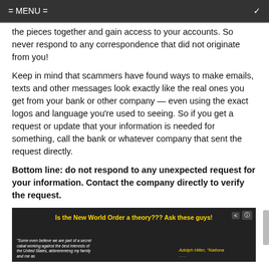= MENU =
the pieces together and gain access to your accounts. So never respond to any correspondence that did not originate from you!
Keep in mind that scammers have found ways to make emails, texts and other messages look exactly like the real ones you get from your bank or other company — even using the exact logos and language you're used to seeing. So if you get a request or update that your information is needed for something, call the bank or whatever company that sent the request directly.
Bottom line: do not respond to any unexpected request for your information. Contact the company directly to verify the request.
[Figure (screenshot): Dark image with yellow text overlay reading 'Is the New World Order a theory??? Ask these guys!' with photos of people and subtitle text about secret cabal, and caption 'Adolph Hitler, "National..."']